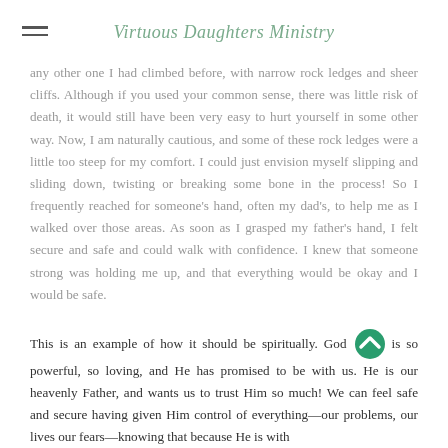Virtuous Daughters Ministry
any other one I had climbed before, with narrow rock ledges and sheer cliffs. Although if you used your common sense, there was little risk of death, it would still have been very easy to hurt yourself in some other way. Now, I am naturally cautious, and some of these rock ledges were a little too steep for my comfort. I could just envision myself slipping and sliding down, twisting or breaking some bone in the process! So I frequently reached for someone's hand, often my dad's, to help me as I walked over those areas. As soon as I grasped my father's hand, I felt secure and safe and could walk with confidence. I knew that someone strong was holding me up, and that everything would be okay and I would be safe.
This is an example of how it should be spiritually. God is so powerful, so loving, and He has promised to be with us. He is our heavenly Father, and wants us to trust Him so much! We can feel safe and secure having given Him control of everything—our problems, our lives our fears—knowing that because He is with